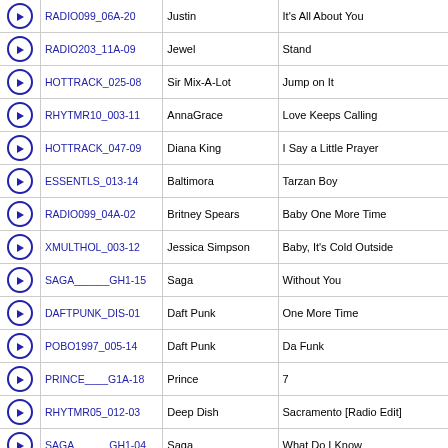|  | ID | Artist | Title |
| --- | --- | --- | --- |
| ▶ | RADIO099_06A-20 | Justin | It's All About You |
| ▶ | RADIO203_11A-09 | Jewel | Stand |
| ▶ | HOTTRACK_025-08 | Sir Mix-A-Lot | Jump on It |
| ▶ | RHYTMR10_003-11 | AnnaGrace | Love Keeps Calling |
| ▶ | HOTTRACK_047-09 | Diana King | I Say a Little Prayer |
| ▶ | ESSENTLS_013-14 | Baltimora | Tarzan Boy |
| ▶ | RADIO099_04A-02 | Britney Spears | Baby One More Time |
| ▶ | XMULTHOL_003-12 | Jessica Simpson | Baby, It's Cold Outside |
| ▶ | SAGA______GH1-15 | Saga | Without You |
| ▶ | DAFTPUNK_DIS-01 | Daft Punk | One More Time |
| ▶ | POBO1997_005-14 | Daft Punk | Da Funk |
| ▶ | PRINCE____G1A-18 | Prince | 7 |
| ▶ | RHYTMR05_012-03 | Deep Dish | Sacramento [Radio Edit] |
| ▶ | SAGA______GH1-04 | Saga | What Do I Know |
| ▶ | UCLUB098_008-06 | Jack-N-House | A Man With a Horn |
| ▶ | ESSENTLS_005-06 | Cameo | Word Up |
| ▶ | RADIO098_06A-16 | Kyle Davis | Buried Alive |
| ▶ | CHRRADIO_188-14 | Cage The Elephant | Ain't No Rest For The Wicked |
| ▶ | CHRRADIO_131-19 | Rob Thomas | Streetcorner Symphony |
| ▶ | ALLSTARS_201-07 | Neja | Fairytale |
| ▶ | ESSENTLS_015-18 | D:Ream | Things Can Only Get Better |
| ▶ | POBO1997_004-01 | Savage Garden | I Want You |